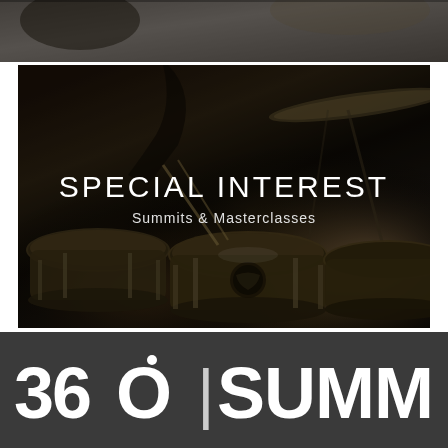[Figure (photo): Dark top strip showing partial image of person playing drums, grey tones]
[Figure (photo): Dark moody photograph of drum kit with cymbal and tom drums visible, person with drumsticks in background. Overlay text reads SPECIAL INTEREST and Summits & Masterclasses]
SPECIAL INTEREST
Summits & Masterclasses
[Figure (logo): 360|SUMMITS logo on dark grey background. Large bold white text showing 360 pipe SUMMITS]